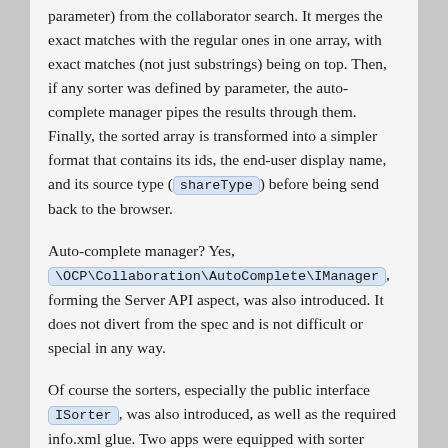parameter) from the collaborator search. It merges the exact matches with the regular ones in one array, with exact matches (not just substrings) being on top. Then, if any sorter was defined by parameter, the auto-complete manager pipes the results through them. Finally, the sorted array is transformed into a simpler format that contains its ids, the end-user display name, and its source type (shareType) before being send back to the browser.
Auto-complete manager? Yes, \OCP\Collaboration\AutoComplete\IManager, forming the Server API aspect, was also introduced. It does not divert from the spec and is not difficult or special in any way.
Of course the sorters, especially the public interface ISorter, was also introduced, as well as the required info.xml glue. Two apps were equipped with sorter plugins: comments pushes people that